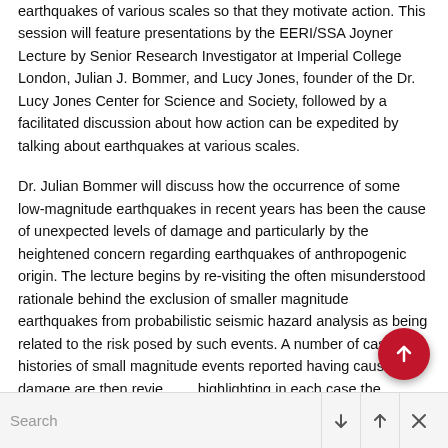earthquakes of various scales so that they motivate action. This session will feature presentations by the EERI/SSA Joyner Lecture by Senior Research Investigator at Imperial College London, Julian J. Bommer, and Lucy Jones, founder of the Dr. Lucy Jones Center for Science and Society, followed by a facilitated discussion about how action can be expedited by talking about earthquakes at various scales.
Dr. Julian Bommer will discuss how the occurrence of some low-magnitude earthquakes in recent years has been the cause of unexpected levels of damage and particularly by the heightened concern regarding earthquakes of anthropogenic origin. The lecture begins by re-visiting the often misunderstood rationale behind the exclusion of smaller magnitude earthquakes from probabilistic seismic hazard analysis as being related to the risk posed by such events. A number of case histories of small magnitude events reported having caused damage are then reviewed, highlighting in each case the specific factors contribu...